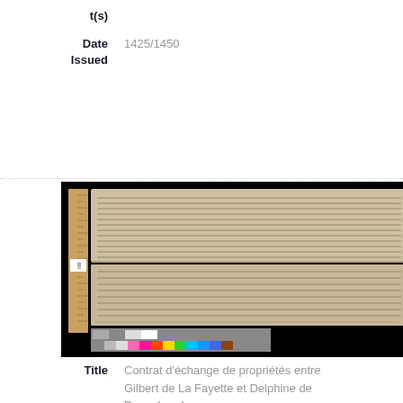t(s)
Date Issued	1425/1450
[Figure (photo): Photograph of a medieval manuscript document with handwritten text in two sections (folded parchment), with a wooden ruler on the left side and a color calibration strip at the bottom, set against a black background.]
Title	Contrat d'échange de propriétés entre Gilbert de La Fayette et Delphine de Bonnabaud